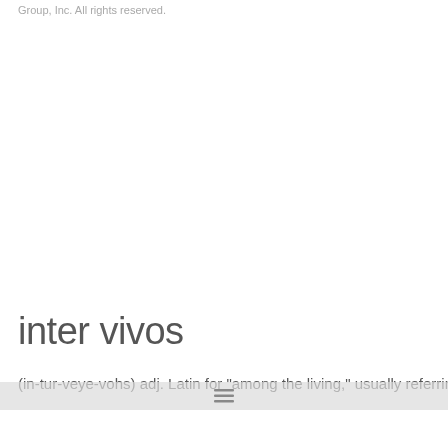Group, Inc. All rights reserved.
inter vivos
(in-tur-veye-vohs) adj. Latin for "among the living," usually referring to the